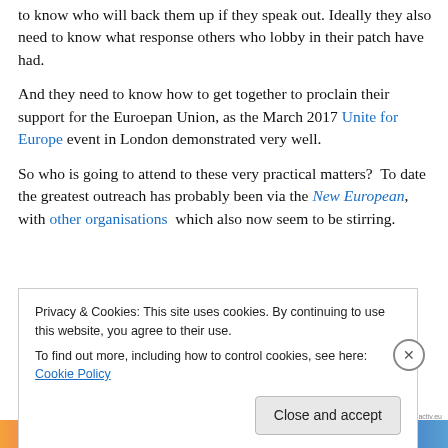to know who will back them up if they speak out. Ideally they also need to know what response others who lobby in their patch have had.
And they need to know how to get together to proclain their support for the Euroepan Union, as the March 2017 Unite for Europe event in London demonstrated very well.
So who is going to attend to these very practical matters?  To date the greatest outreach has probably been via the New European, with other organisations  which also now seem to be stirring.
Privacy & Cookies: This site uses cookies. By continuing to use this website, you agree to their use.
To find out more, including how to control cookies, see here: Cookie Policy